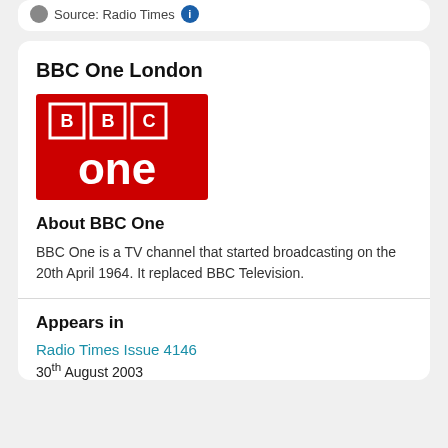Source: Radio Times
BBC One London
[Figure (logo): BBC One logo — red background with white BBC block letters at top and white 'one' in large lowercase letters below]
About BBC One
BBC One is a TV channel that started broadcasting on the 20th April 1964. It replaced BBC Television.
Appears in
Radio Times Issue 4146
30th August 2003